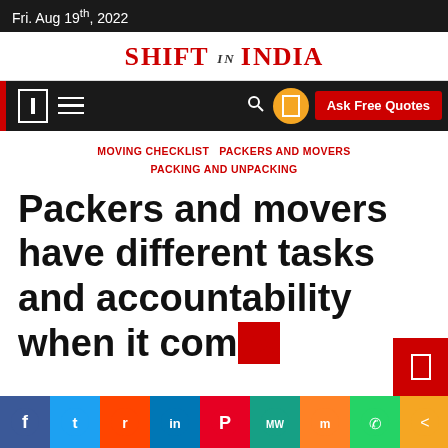Fri. Aug 19th, 2022
[Figure (logo): Shift in India website logo in red serif font]
[Figure (screenshot): Navigation bar with hamburger menu, search icon, user icon, and Ask Free Quotes button]
MOVING CHECKLIST  PACKERS AND MOVERS  PACKING AND UNPACKING
Packers and movers have different tasks and accountability when it comes
[Figure (infographic): Social media sharing icons: Facebook, Twitter, Reddit, LinkedIn, Pinterest, MeWe, Mix, WhatsApp, Share]